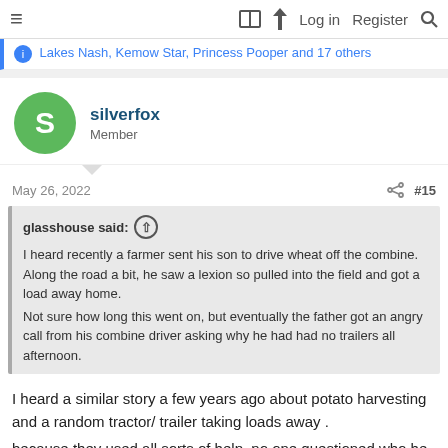≡  📖  ⚡  Log in   Register  🔍
Lakes Nash, Kemow Star, Princess Pooper and 17 others
silverfox
Member
May 26, 2022   #15
glasshouse said: ↑
I heard recently a farmer sent his son to drive wheat off the combine. Along the road a bit, he saw a lexion so pulled into the field and got a load away home.
Not sure how long this went on, but eventually the father got an angry call from his combine driver asking why he had had no trailers all afternoon.
I heard a similar story a few years ago about potato harvesting and a random tractor/ trailer taking loads away .
because they used all sorts of help, no one questioned who he